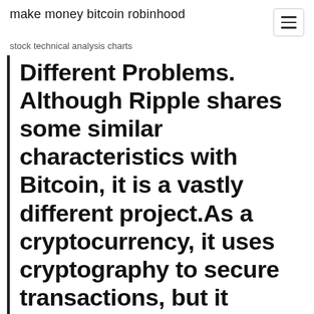make money bitcoin robinhood
stock technical analysis charts
Different Problems. Although Ripple shares some similar characteristics with Bitcoin, it is a vastly different project.As a cryptocurrency, it uses cryptography to secure transactions, but it doesn't actually have a public blockchain.